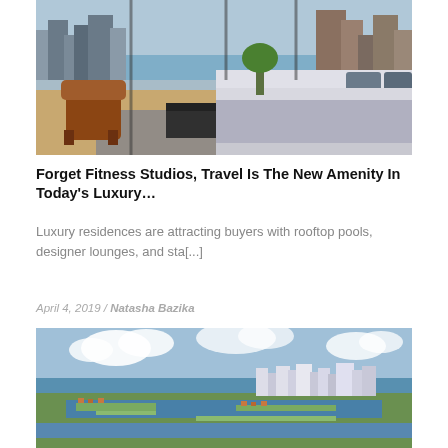[Figure (photo): Luxury apartment bedroom interior with floor-to-ceiling windows showing city skyline, brown leather armchair, modern TV console, and grey bedding with decorative pillows]
Forget Fitness Studios, Travel Is The New Amenity In Today’s Luxury…
Luxury residences are attracting buyers with rooftop pools, designer lounges, and sta[...]
April 4, 2019 / Natasha Bazika
[Figure (photo): Aerial view of a coastal city (likely Fort Lauderdale or Miami) showing waterways, islands with houses, and downtown skyline in the background with blue sky and clouds]